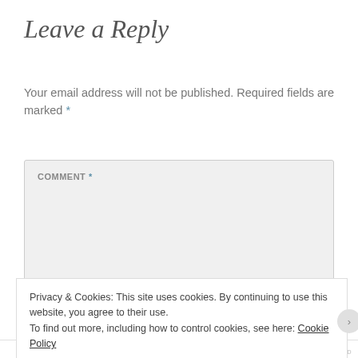Leave a Reply
Your email address will not be published. Required fields are marked *
[Figure (screenshot): COMMENT * text area input field, large empty grey rounded box]
Privacy & Cookies: This site uses cookies. By continuing to use this website, you agree to their use.
To find out more, including how to control cookies, see here: Cookie Policy
Close and accept